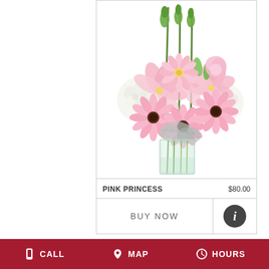[Figure (photo): Pink Princess floral arrangement in a clear glass square vase featuring pink gerbera daisies, pink lilies, white hydrangeas, pink carnations, green snapdragons, and dusty miller foliage]
PINK PRINCESS
$80.00
BUY NOW
CALL   MAP   HOURS